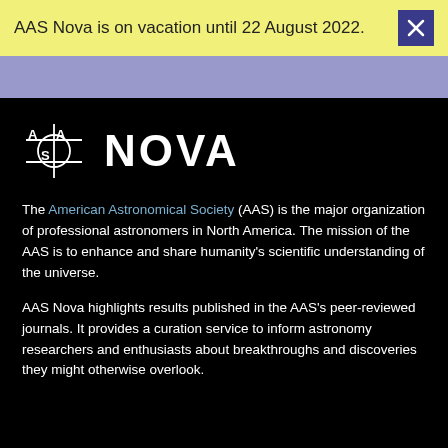AAS Nova is on vacation until 22 August 2022.
[Figure (logo): AAS Nova logo — AAS symbol with vertical bar and NOVA wordmark in white on black background]
The American Astronomical Society (AAS) is the major organization of professional astronomers in North America. The mission of the AAS is to enhance and share humanity's scientific understanding of the universe.
AAS Nova highlights results published in the AAS's peer-reviewed journals. It provides a curation service to inform astronomy researchers and enthusiasts about breakthroughs and discoveries they might otherwise overlook.